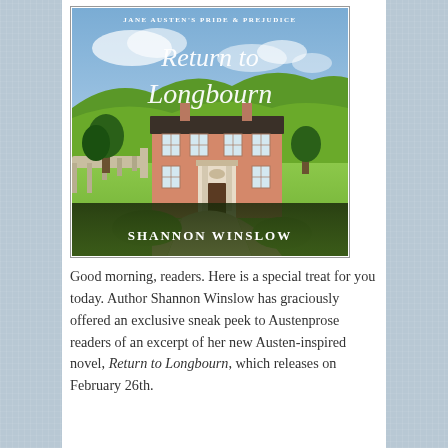[Figure (illustration): Book cover of 'Return to Longbourn' by Shannon Winslow. Subtitle reads 'Jane Austen's Pride & Prejudice'. Cover shows a painted illustration of an English country house (Longbourn) with rolling green hills, a blue sky, trees, and a gravel driveway. The title 'Return to Longbourn' is written in white cursive script, and the author name 'SHANNON WINSLOW' appears in white serif capitals at the bottom.]
Good morning, readers. Here is a special treat for you today. Author Shannon Winslow has graciously offered an exclusive sneak peek to Austenprose readers of an excerpt of her new Austen-inspired novel, Return to Longbourn, which releases on February 26th.